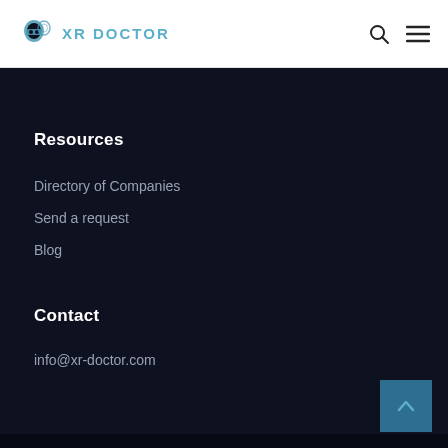XR DOCTOR
Resources
Directory of Companies
Send a request
Blog
Contact
info@xr-doctor.com